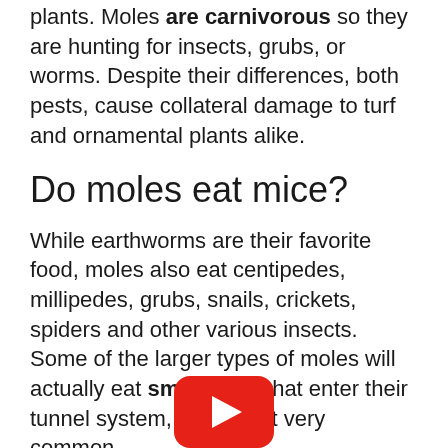plants. Moles are carnivorous so they are hunting for insects, grubs, or worms. Despite their differences, both pests, cause collateral damage to turf and ornamental plants alike.
Do moles eat mice?
While earthworms are their favorite food, moles also eat centipedes, millipedes, grubs, snails, crickets, spiders and other various insects. Some of the larger types of moles will actually eat small mice that enter their tunnel system, but it's not very common.
[Figure (logo): YouTube play button logo (red rounded rectangle with white triangle)]